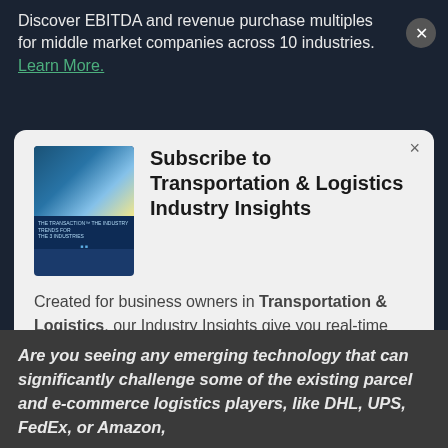Discover EBITDA and revenue purchase multiples for middle market companies across 10 industries. Learn More.
[Figure (screenshot): Modal popup card with book thumbnail on the left and subscription headline on the right]
Subscribe to Transportation & Logistics Industry Insights
Created for business owners in Transportation & Logistics, our Industry Insights give you real-time access to emerging M&A trends, transaction data, and market analysis written by our industry experts.
Subscribe
Are you seeing any emerging technology that can significantly challenge some of the existing parcel and e-commerce logistics players, like DHL, UPS, FedEx, or Amazon,